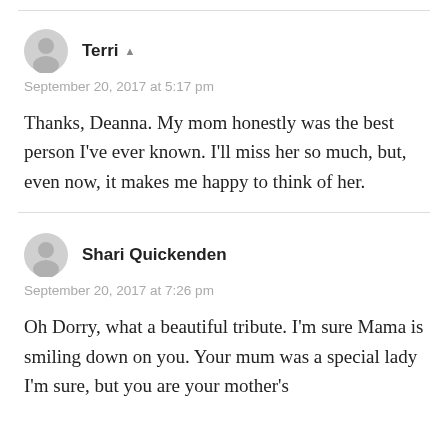Terri
September 20, 2017 at 5:17 pm
Thanks, Deanna. My mom honestly was the best person I've ever known. I'll miss her so much, but, even now, it makes me happy to think of her.
Shari Quickenden
September 20, 2017 at 7:26 pm
Oh Dorry, what a beautiful tribute. I'm sure Mama is smiling down on you. Your mum was a special lady I'm sure, but you are your mother's